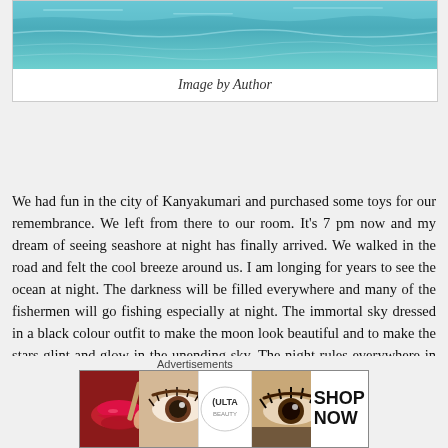[Figure (photo): Ocean/seashore image showing turquoise water]
Image by Author
We had fun in the city of Kanyakumari and purchased some toys for our remembrance. We left from there to our room. It's 7 pm now and my dream of seeing seashore at night has finally arrived. We walked in the road and felt the cool breeze around us. I am longing for years to see the ocean at night. The darkness will be filled everywhere and many of the fishermen will go fishing especially at night. The immortal sky dressed in a black colour outfit to make the moon look beautiful and to make the stars glint and glow in the unending sky. The night rules everywhere in the world. Life shivers at night. We human beings make ourselves strong by experiencing life. Experience makes us handle the situation around us. Experience seems worthy always
Advertisements
[Figure (screenshot): ULTA beauty advertisement banner with makeup images and SHOP NOW text]